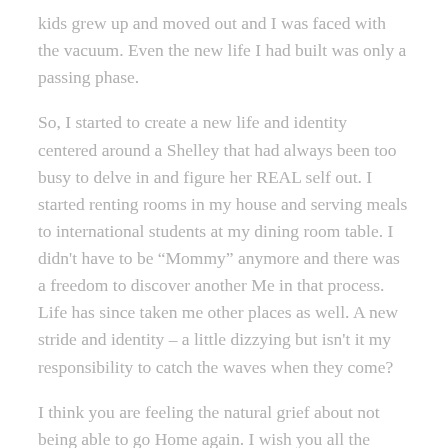kids grew up and moved out and I was faced with the vacuum. Even the new life I had built was only a passing phase.
So, I started to create a new life and identity centered around a Shelley that had always been too busy to delve in and figure her REAL self out. I started renting rooms in my house and serving meals to international students at my dining room table. I didn't have to be “Mommy” anymore and there was a freedom to discover another Me in that process. Life has since taken me other places as well. A new stride and identity – a little dizzying but isn't it my responsibility to catch the waves when they come?
I think you are feeling the natural grief about not being able to go Home again. I wish you all the strength and joy of exploring who you really want to be. Your son will be so proud of you, all the more so if he can observe you